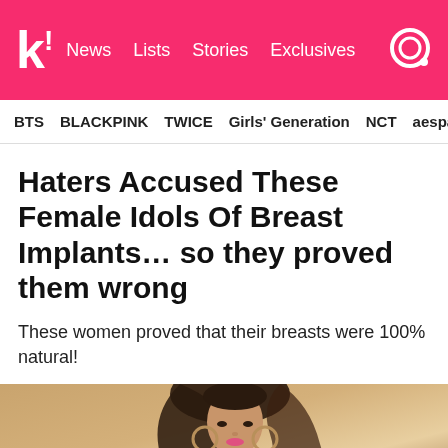k! News Lists Stories Exclusives
BTS BLACKPINK TWICE Girls' Generation NCT aespa
Haters Accused These Female Idols Of Breast Implants… so they proved them wrong
These women proved that their breasts were 100% natural!
[Figure (photo): Young woman with long dark hair, wearing a halter top and large hoop earrings, photographed against a warm beige/tan background]